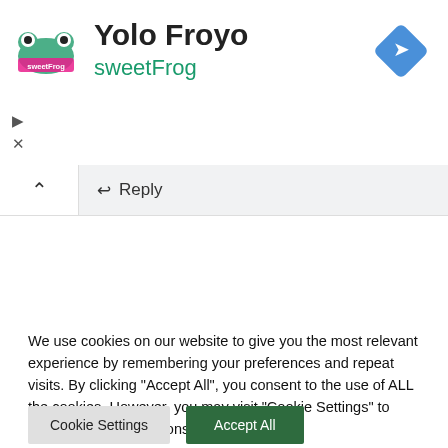[Figure (logo): sweetFrog logo - pink and green frog branding mark]
Yolo Froyo
sweetFrog
[Figure (other): Blue diamond navigation/directions icon with right-turn arrow]
▶
✕
↩ Reply
We use cookies on our website to give you the most relevant experience by remembering your preferences and repeat visits. By clicking "Accept All", you consent to the use of ALL the cookies. However, you may visit "Cookie Settings" to provide a controlled consent. Read More
Cookie Settings
Accept All